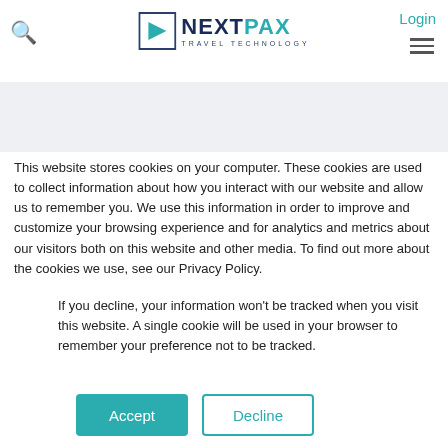NextPax Travel Technology — Login
[Figure (logo): NextPax Travel Technology logo with search icon and hamburger menu]
This website stores cookies on your computer. These cookies are used to collect information about how you interact with our website and allow us to remember you. We use this information in order to improve and customize your browsing experience and for analytics and metrics about our visitors both on this website and other media. To find out more about the cookies we use, see our Privacy Policy.
If you decline, your information won't be tracked when you visit this website. A single cookie will be used in your browser to remember your preference not to be tracked.